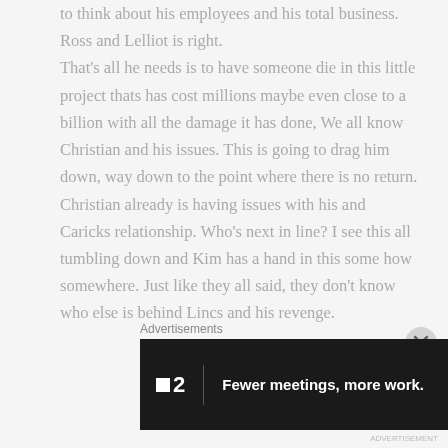to think about his employees and his total business. Ross and Lelliot is right. That's all he needs is to have someone die in this little project thats has cost millions maybe even close to a billion with all the damage it has done, We all know Christian and his issues. This is going to drag him down, way down to the point where there is no return. Christian already is having issues with his and Caricks relationship. Who's next in line? I see this all tumbling down and Kim has a hand in this some how somewhere. Just like they all said, they don't know who else is behind Lincs and his revenge.
Advertisements
[Figure (other): Dark advertisement banner showing logo with square icon and number 2, with text 'Fewer meetings, more work.' on black background]